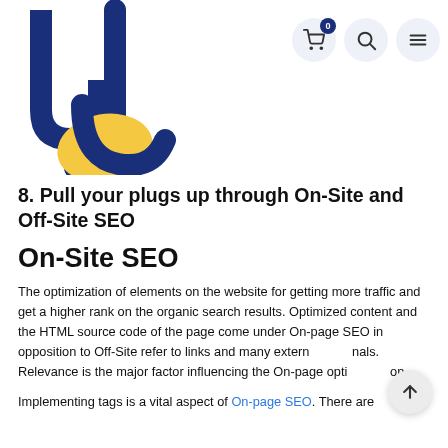[Figure (logo): Blue and yellow stylized letter logo for a website]
[Figure (infographic): Navigation icons: shopping cart with badge '0', search magnifier, and hamburger menu, each in circular buttons]
8. Pull your plugs up through On-Site and Off-Site SEO
On-Site SEO
The optimization of elements on the website for getting more traffic and get a higher rank on the organic search results. Optimized content and the HTML source code of the page come under On-page SEO in opposition to Off-Site refer to links and many external signals. Relevance is the major factor influencing the On-page optimization.
Implementing tags is a vital aspect of On-page SEO. There are